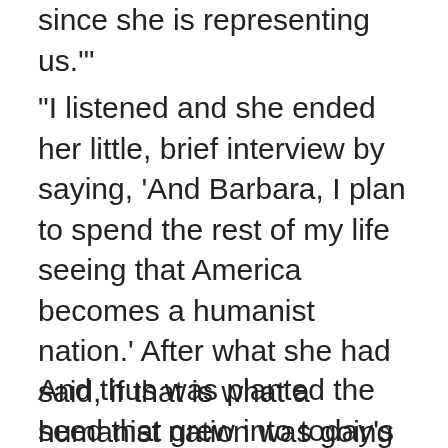better hear what she is saying since she is representing us.'"
“I listened and she ended her little, brief interview by saying, ‘And Barbara, I plan to spend the rest of my life seeing that America becomes a humanist nation.’ After what she had said, if that is what a humanist nation was going to be like, I did not want any part of it.”
And thus was planted the seed that grew into today’s